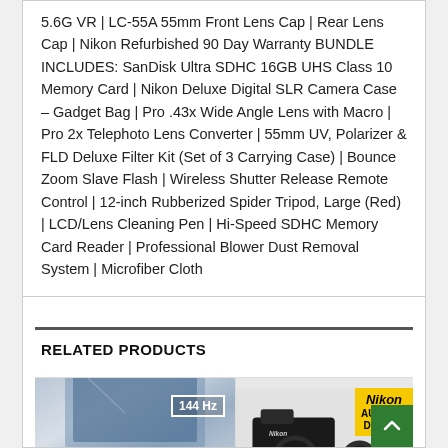5.6G VR | LC-55A 55mm Front Lens Cap | Rear Lens Cap | Nikon Refurbished 90 Day Warranty BUNDLE INCLUDES: SanDisk Ultra SDHC 16GB UHS Class 10 Memory Card | Nikon Deluxe Digital SLR Camera Case – Gadget Bag | Pro .43x Wide Angle Lens with Macro | Pro 2x Telephoto Lens Converter | 55mm UV, Polarizer & FLD Deluxe Filter Kit (Set of 3 Carrying Case) | Bounce Zoom Slave Flash | Wireless Shutter Release Remote Control | 12-inch Rubberized Spider Tripod, Large (Red) | LCD/Lens Cleaning Pen | Hi-Speed SDHC Memory Card Reader | Professional Blower Dust Removal System | Microfiber Cloth
RELATED PRODUCTS
[Figure (photo): Product image showing a monitor or screen with 144Hz badge overlay]
[Figure (photo): Nikon camera product image with Nikon Authorized Dealer badge]